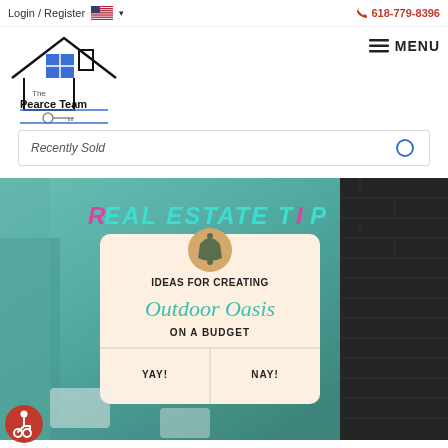Login / Register  🇺🇸 ▾   618-779-8396
[Figure (logo): The Pearce Team logo: house outline with blue window grid and key symbol, text reads 'The Pearce Team']
MENU
Recently Sold
[Figure (photo): Real estate tip social media post showing 'REAL ESTATE TIP' in stylized text with a card reading 'IDEAS FOR CREATING Outdoor Oasis ON A BUDGET' with YAY! and NAY! buttons, set against a teal outdoor background with dark brick panel]
[Figure (illustration): Accessibility/wheelchair icon in red circle at bottom left]